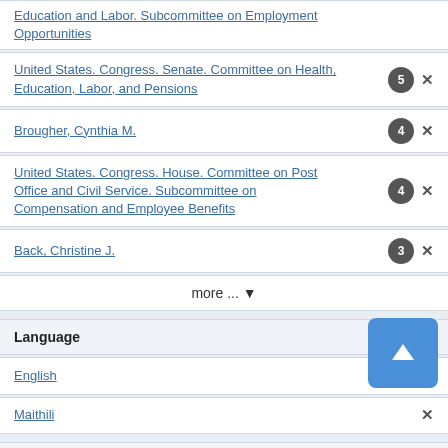Education and Labor. Subcommittee on Employment Opportunities
United States. Congress. Senate. Committee on Health, Education, Labor, and Pensions  5 ×
Brougher, Cynthia M.  4 ×
United States. Congress. House. Committee on Post Office and Civil Service. Subcommittee on Compensation and Employee Benefits  4 ×
Back, Christine J.  3 ×
more ... ▼
Language ▲
English  119 ×
Maithili  ×
Genre ▲